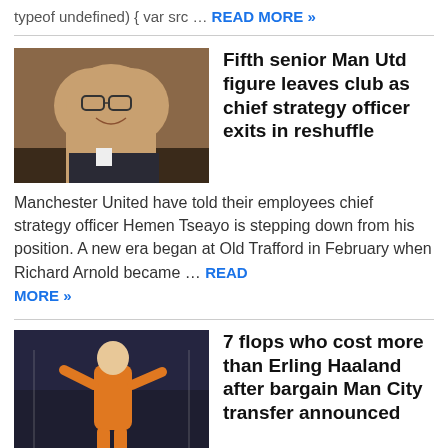typeof undefined) { var src ... READ MORE »
[Figure (photo): Headshot of a Black man wearing glasses and a suit, smiling]
Fifth senior Man Utd figure leaves club as chief strategy officer exits in reshuffle
Manchester United have told their employees chief strategy officer Hemen Tseayo is stepping down from his position. A new era began at Old Trafford in February when Richard Arnold became … READ MORE »
[Figure (photo): A goalkeeper in an orange kit gesturing on a football pitch, crowd in background]
7 flops who cost more than Erling Haaland after bargain Man City transfer announced
The capture of Erling Haaland has sent pulses